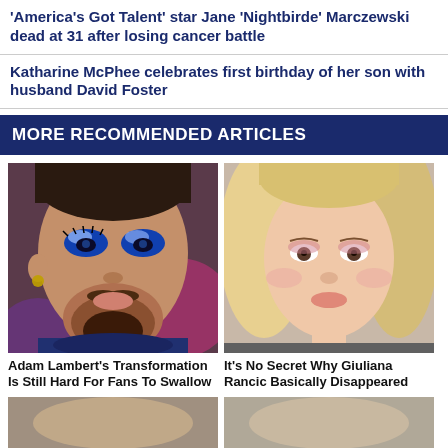'America's Got Talent' star Jane 'Nightbirde' Marczewski dead at 31 after losing cancer battle
Katharine McPhee celebrates first birthday of her son with husband David Foster
MORE RECOMMENDED ARTICLES
[Figure (photo): Close-up photo of Adam Lambert with dramatic blue eye makeup and glitter]
[Figure (photo): Close-up photo of Giuliana Rancic, blonde woman looking up]
Adam Lambert's Transformation Is Still Hard For Fans To Swallow
It's No Secret Why Giuliana Rancic Basically Disappeared
[Figure (photo): Partial bottom thumbnail image left]
[Figure (photo): Partial bottom thumbnail image right]